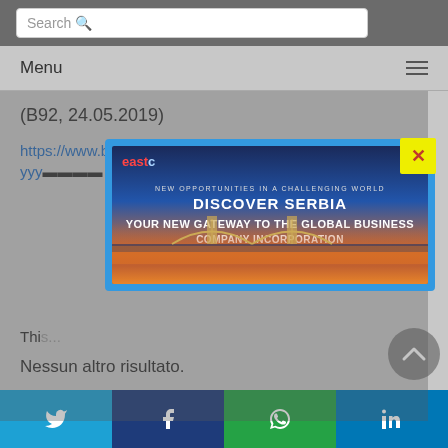Search
Menu
(B92, 24.05.2019)
https://www.b92.net/biz/vesti/srbija.php?yyy...
[Figure (photo): Advertisement modal for eastc - DISCOVER SERBIA: NEW OPPORTUNITIES IN A CHALLENGING WORLD, YOUR NEW GATEWAY TO THE GLOBAL BUSINESS, COMPANY INCORPORATION. City night skyline background.]
Thi...
Nessun altro risultato.
Emmanuel Macron  France  investments  official visit
Twitter  Facebook  WhatsApp  LinkedIn